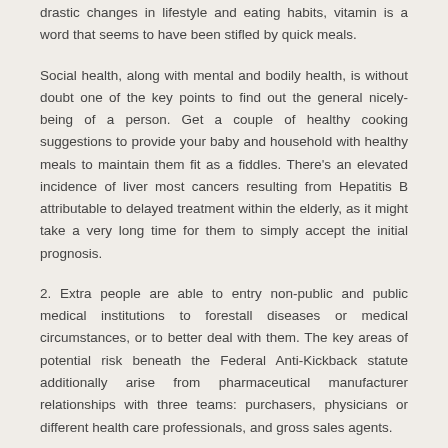drastic changes in lifestyle and eating habits, vitamin is a word that seems to have been stifled by quick meals.
Social health, along with mental and bodily health, is without doubt one of the key points to find out the general nicely-being of a person. Get a couple of healthy cooking suggestions to provide your baby and household with healthy meals to maintain them fit as a fiddles. There’s an elevated incidence of liver most cancers resulting from Hepatitis B attributable to delayed treatment within the elderly, as it might take a very long time for them to simply accept the initial prognosis.
2. Extra people are able to entry non-public and public medical institutions to forestall diseases or medical circumstances, or to better deal with them. The key areas of potential risk beneath the Federal Anti-Kickback statute additionally arise from pharmaceutical manufacturer relationships with three teams: purchasers, physicians or different health care professionals, and gross sales agents.